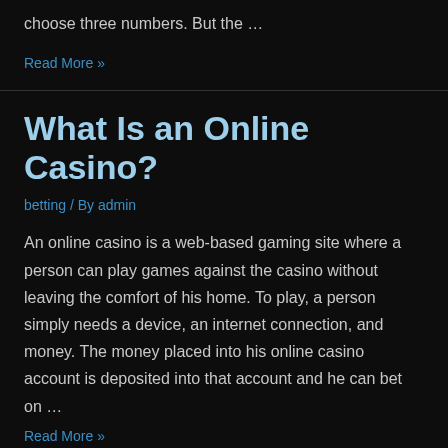choose three numbers. But the …
Read More »
What Is an Online Casino?
betting / By admin
An online casino is a web-based gaming site where a person can play games against the casino without leaving the comfort of his home. To play, a person simply needs a device, an internet connection, and money. The money placed into his online casino account is deposited into that account and he can bet on …
Read More »
Tips For Avoiding Addiction to